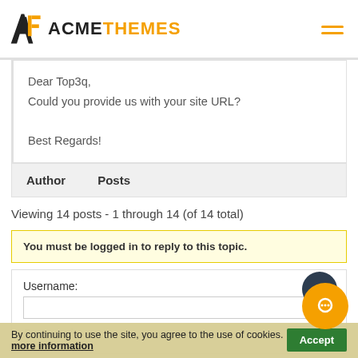ACMETHEMES
Dear Top3q,
Could you provide us with your site URL?

Best Regards!
| Author | Posts |
| --- | --- |
Viewing 14 posts - 1 through 14 (of 14 total)
You must be logged in to reply to this topic.
Username:
Password:
By continuing to use the site, you agree to the use of cookies. more information